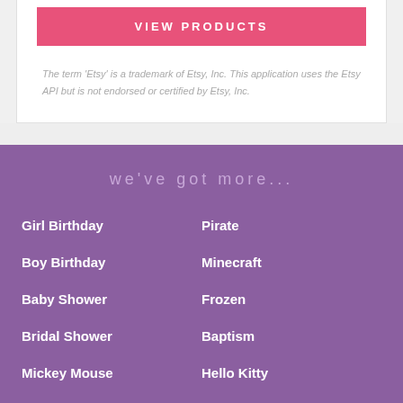VIEW PRODUCTS
The term 'Etsy' is a trademark of Etsy, Inc. This application uses the Etsy API but is not endorsed or certified by Etsy, Inc.
we've got more...
Girl Birthday
Pirate
Boy Birthday
Minecraft
Baby Shower
Frozen
Bridal Shower
Baptism
Mickey Mouse
Hello Kitty
Minnie Mouse
Animals
Circus/Carnival
Fairy